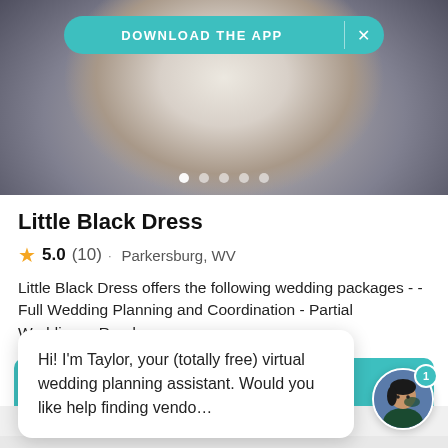[Figure (screenshot): Mobile app screenshot showing a woman in white off-shoulder knitwear, with a 'Download the App' teal banner and image carousel dots]
Little Black Dress
5.0 (10) · Parkersburg, WV
Little Black Dress offers the following wedding packages - - Full Wedding Planning and Coordination - Partial Wedding… Read more
[Figure (screenshot): Teal button bar partially visible]
Hi! I'm Taylor, your (totally free) virtual wedding planning assistant. Would you like help finding vendo…